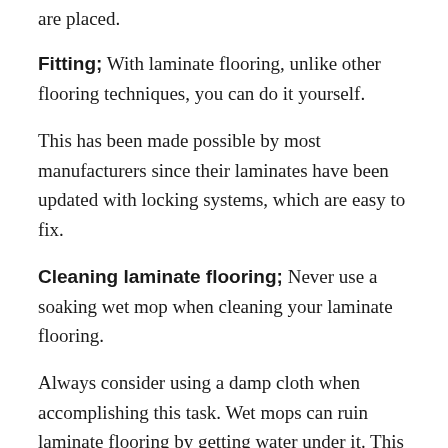are placed.
Fitting; With laminate flooring, unlike other flooring techniques, you can do it yourself.
This has been made possible by most manufacturers since their laminates have been updated with locking systems, which are easy to fix.
Cleaning laminate flooring; Never use a soaking wet mop when cleaning your laminate flooring.
Always consider using a damp cloth when accomplishing this task. Wet mops can ruin laminate flooring by getting water under it. This could be such a waste.
Wh...